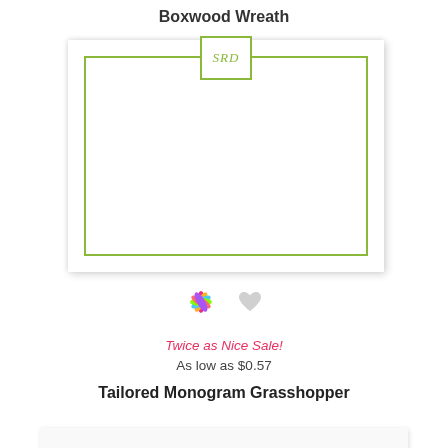Boxwood Wreath
[Figure (illustration): A flat-lay stationery card with a green double-border frame and a small square monogram box centered at the top with the letters SRD in green italic script.]
[Figure (illustration): A colorful pinwheel/flower icon and a gray heart icon side by side.]
Twice as Nice Sale!
As low as $0.57
Tailored Monogram Grasshopper